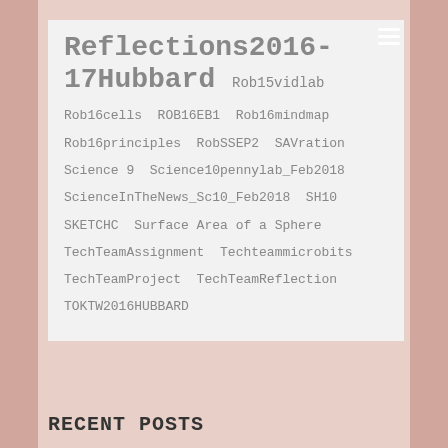Reflections2016-17Hubbard Rob15vidlab
Rob16cells ROB16EB1 Rob16mindmap
Rob16principles RobSSEP2 SAVration
Science 9 Science10pennylab_Feb2018
ScienceInTheNews_Sc10_Feb2018 SH10
SKETCHC Surface Area of a Sphere
TechTeamAssignment Techteammicrobits
TechTeamProject TechTeamReflection
TOKTW2016HUBBARD
RECENT POSTS